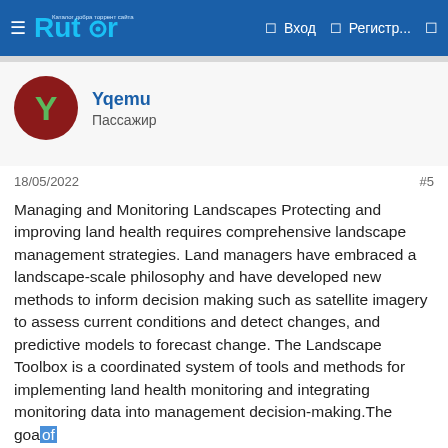Rutor | Вход | Регистр...
Yqemu
Пассажир
18/05/2022
#5
Managing and Monitoring Landscapes Protecting and improving land health requires comprehensive landscape management strategies. Land managers have embraced a landscape-scale philosophy and have developed new methods to inform decision making such as satellite imagery to assess current conditions and detect changes, and predictive models to forecast change. The Landscape Toolbox is a coordinated system of tools and methods for implementing land health monitoring and integrating monitoring data into management decision-making.The goal of the Landscape Toolbox is to provide the tools, resources, and training to land health monitoring methods and technologies for answering land management questions at different scales.Nelson Stauffer Uncategorized 0The core methods